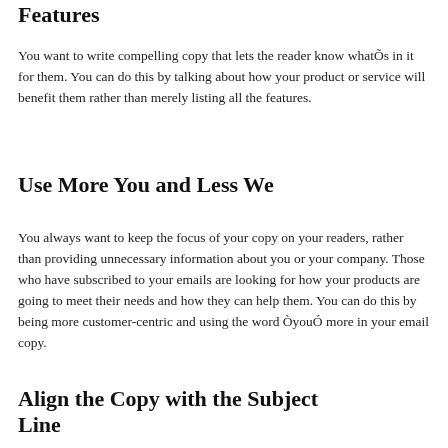Features
You want to write compelling copy that lets the reader know whatÕs in it for them. You can do this by talking about how your product or service will benefit them rather than merely listing all the features.
Use More You and Less We
You always want to keep the focus of your copy on your readers, rather than providing unnecessary information about you or your company. Those who have subscribed to your emails are looking for how your products are going to meet their needs and how they can help them. You can do this by being more customer-centric and using the word ÒyouÓ more in your email copy.
Align the Copy with the Subject Line